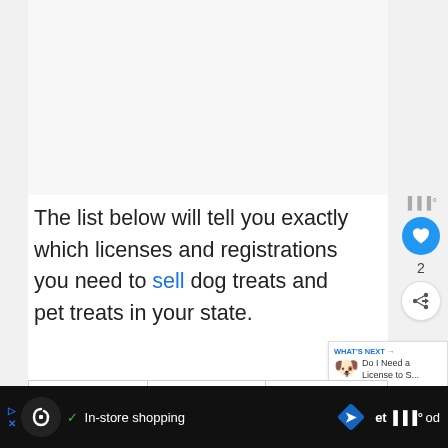The list below will tell you exactly which licenses and registrations you need to sell dog treats and pet treats in your state.
| State | Pet Food | Individual |
| --- | --- | --- |
[Figure (screenshot): Bottom advertisement bar with dark background showing in-store shopping promotion and navigation icon]